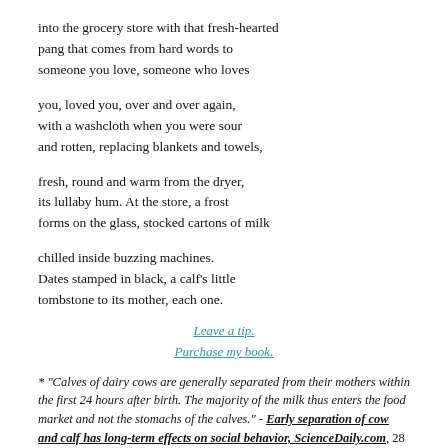into the grocery store with that fresh-hearted
pang that comes from hard words to
someone you love, someone who loves
you, loved you, over and over again,
with a washcloth when you were sour
and rotten, replacing blankets and towels,
fresh, round and warm from the dryer,
its lullaby hum. At the store, a frost
forms on the glass, stocked cartons of milk
chilled inside buzzing machines.
Dates stamped in black, a calf's little
tombstone to its mother, each one.
Leave a tip.
Purchase my book.
* "Calves of dairy cows are generally separated from their mothers within the first 24 hours after birth. The majority of the milk thus enters the food market and not the stomachs of the calves." - Early separation of cow and calf has long-term effects on social behavior, ScienceDaily.com, 28 April 2015.